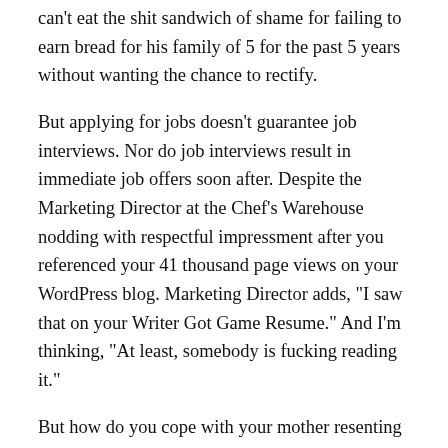can't eat the shit sandwich of shame for failing to earn bread for his family of 5 for the past 5 years without wanting the chance to rectify.
But applying for jobs doesn't guarantee job interviews. Nor do job interviews result in immediate job offers soon after. Despite the Marketing Director at the Chef's Warehouse nodding with respectful impressment after you referenced your 41 thousand page views on your WordPress blog. Marketing Director adds, "I saw that on your Writer Got Game Resume." And I'm thinking, "At least, somebody is fucking reading it."
But how do you cope with your mother resenting you making a yummy pesto mozzarella sandwich on bomb sesame loaf on her dime during her visit back east? How do you black out your mother-in-law calling you "pathetic"? How do you cope with a nurse wife who feels taken advantage of because you've been choking